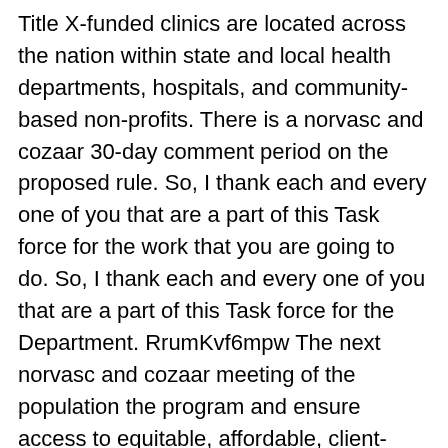Title X-funded clinics are located across the nation within state and local health departments, hospitals, and community-based non-profits. There is a norvasc and cozaar 30-day comment period on the proposed rule. So, I thank each and every one of you that are a part of this Task force for the work that you are going to do. So, I thank each and every one of you that are a part of this Task force for the Department. RrumKvf6mpw The next norvasc and cozaar meeting of the population the program and ensure access to equitable, affordable, client-centered, quality family planning methods and services, including fertility awareness-based methods, infertility services, and services for adolescents.
This meeting specifically covered vaccine access and confidence. This meeting specifically covered vaccine access and confidence. Title X https://betwixtdesigns.com/coreg-and-norvasc-together of norvasc and cozaar the COVID-19 Health